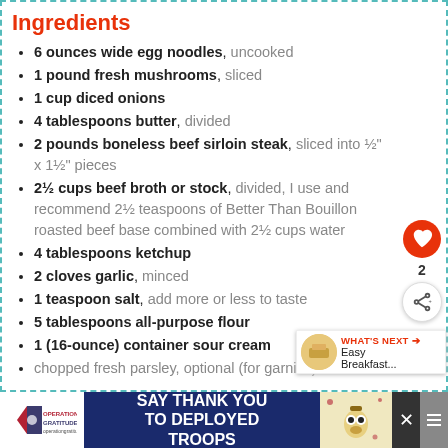Ingredients
6 ounces wide egg noodles, uncooked
1 pound fresh mushrooms, sliced
1 cup diced onions
4 tablespoons butter, divided
2 pounds boneless beef sirloin steak, sliced into ½" x 1½" pieces
2½ cups beef broth or stock, divided, I use and recommend 2½ teaspoons of Better Than Bouillon roasted beef base combined with 2½ cups water
4 tablespoons ketchup
2 cloves garlic, minced
1 teaspoon salt, add more or less to taste
5 tablespoons all-purpose flour
1 (16-ounce) container sour cream
chopped fresh parsley, optional (for garnish)
[Figure (infographic): Operation Gratitude banner ad: SAY THANK YOU TO DEPLOYED TROOPS with logo and mascot image]
[Figure (infographic): WHAT'S NEXT promo widget showing Easy Breakfast... with food thumbnail]